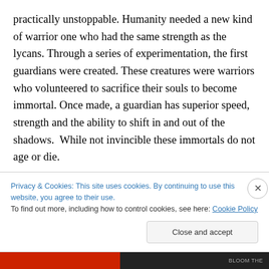practically unstoppable. Humanity needed a new kind of warrior one who had the same strength as the lycans. Through a series of experimentation, the first guardians were created. These creatures were warriors who volunteered to sacrifice their souls to become immortal. Once made, a guardian has superior speed, strength and the ability to shift in and out of the shadows.  While not invincible these immortals do not age or die.

They are destined to walk the earth for eternity defending humans against the were-clans. Ambrose, a character in
Privacy & Cookies: This site uses cookies. By continuing to use this website, you agree to their use.
To find out more, including how to control cookies, see here: Cookie Policy